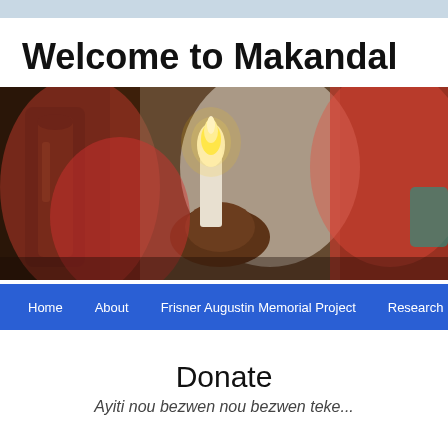Welcome to Makandal
[Figure (photo): A person in red and white clothing holding a lit white candle with both hands. A dark glass bottle is visible to the left. The background is blurred with red and white fabric visible.]
Home   About   Frisner Augustin Memorial Project   Research
Donate
Ayiti nou bezwen nou bezwen teke...